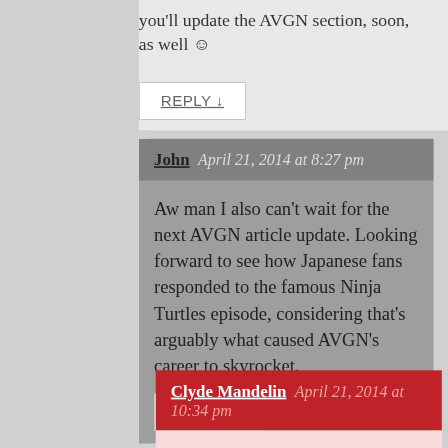you'll update the AVGN section, soon, as well ☺
REPLY ↓
John  April 21, 2014 at 8:27 pm
Aw man I also can't wait for the next AVGN article update. Looking forward to see how Japanese fans responded to the famous Ninja Turtles episode, considering that's arguably what caused AVGN's career to skyrocket.
REPLY ↓
Clyde Mandelin  April 21, 2014 at 10:34 pm
Yep, I really look forward to the TMNT one!